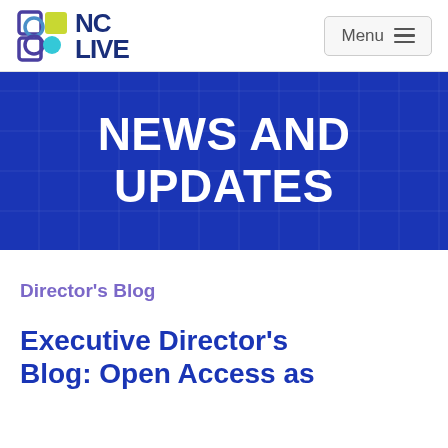[Figure (logo): NC LIVE logo with colorful interlocking squares icon and bold blue NC LIVE text]
NEWS AND UPDATES
Director's Blog
Executive Director's Blog: Open Access as